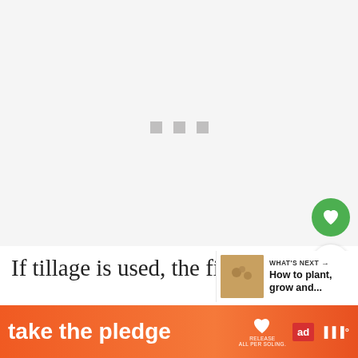[Figure (photo): Loading placeholder with three gray squares/dots centered on a light gray background]
If tillage is used, the field should b... in order to minimize soil drifting and to allow s... in the so... be
[Figure (infographic): What's Next overlay panel showing a small thumbnail image of seeds/grains and text 'WHAT'S NEXT → How to plant, grow and...']
[Figure (infographic): Advertisement banner: 'take the pledge' with RELEASE and ad logos]